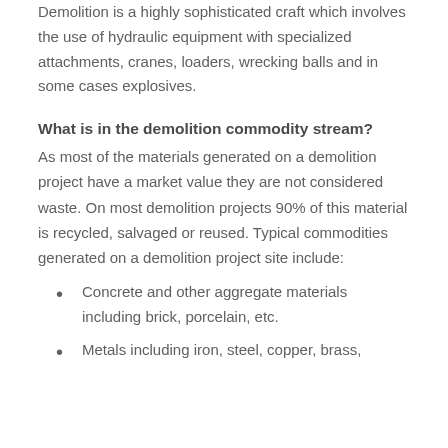Demolition is a highly sophisticated craft which involves the use of hydraulic equipment with specialized attachments, cranes, loaders, wrecking balls and in some cases explosives.
What is in the demolition commodity stream?
As most of the materials generated on a demolition project have a market value they are not considered waste. On most demolition projects 90% of this material is recycled, salvaged or reused. Typical commodities generated on a demolition project site include:
Concrete and other aggregate materials including brick, porcelain, etc.
Metals including iron, steel, copper, brass,